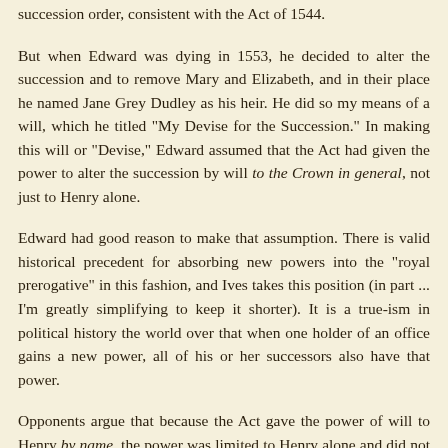succession order, consistent with the Act of 1544.
But when Edward was dying in 1553, he decided to alter the succession and to remove Mary and Elizabeth, and in their place he named Jane Grey Dudley as his heir. He did so my means of a will, which he titled "My Devise for the Succession." In making this will or "Devise," Edward assumed that the Act had given the power to alter the succession by will to the Crown in general, not just to Henry alone.
Edward had good reason to make that assumption. There is valid historical precedent for absorbing new powers into the "royal prerogative" in this fashion, and Ives takes this position (in part ... I'm greatly simplifying to keep it shorter). It is a true-ism in political history the world over that when one holder of an office gains a new power, all of his or her successors also have that power.
Opponents argue that because the Act gave the power of will to Henry by name, the power was limited to Henry alone and did not become a royal prerogative. (I tend to favor this argument.)